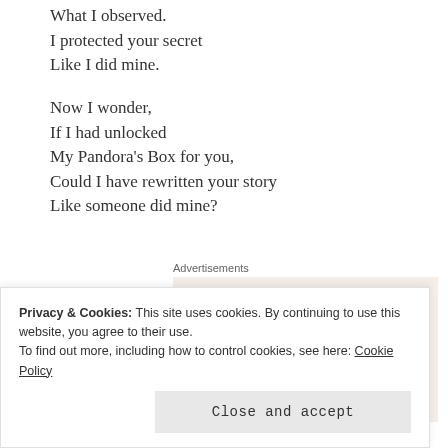What I observed.
I protected your secret
Like I did mine.

Now I wonder,
If I had unlocked
My Pandora's Box for you,
Could I have rewritten your story
Like someone did mine?
Advertisements
[Figure (other): Advertisement box with beige background reading 'Need a website quickly – and on a budget?']
Privacy & Cookies: This site uses cookies. By continuing to use this website, you agree to their use.
To find out more, including how to control cookies, see here: Cookie Policy
Close and accept